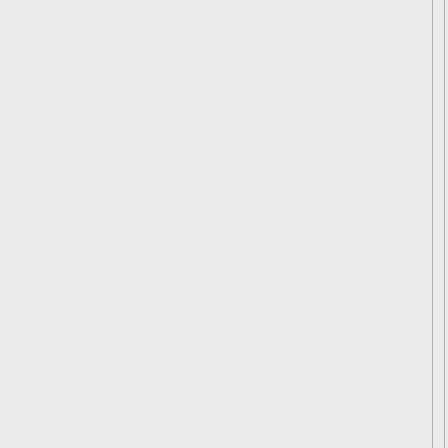a raw helper around here, maybe fifteen hundred bucks in a month.The following month you could easily save three or four thousand dollars by doing your own plumbing installation-this is perfectly legal here in Va.

Of course someone with limited intellectual horse power might need a couple of years to learn this same job, and still make frequent costly mistakes.